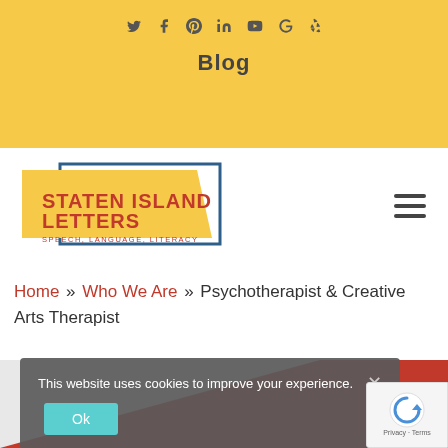Social icons: Twitter, Facebook, Pinterest, LinkedIn, YouTube, Google, Yelp
Blog
[Figure (logo): Staten Island Letters logo — yellow background with dark blue border frame, red text 'Staten Island Letters', smaller red text 'Speech, Language, Literacy']
Home » Who We Are » Psychotherapist & Creative Arts Therapist
[Figure (infographic): Decorative red and grey diagonal banner/hero area]
This website uses cookies to improve your experience.
Ok
[Figure (other): Google reCAPTCHA badge with recycling arrow icon and Privacy - Terms text]